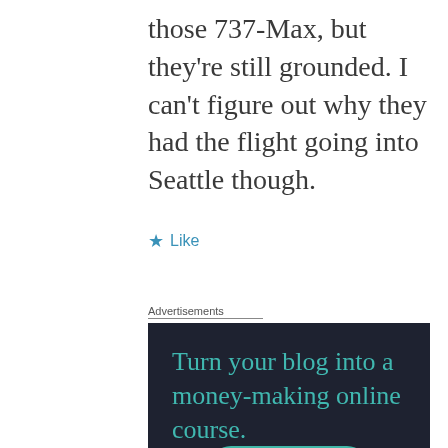those 737-Max, but they're still grounded. I can't figure out why they had the flight going into Seattle though.
★ Like
Advertisements
[Figure (other): Advertisement banner with dark background (#1e2230) displaying teal text 'Turn your blog into a money-making online course.' with a teal 'Learn More' button.]